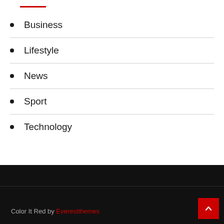Business
Lifestyle
News
Sport
Technology
Color It Red by Everestthemes